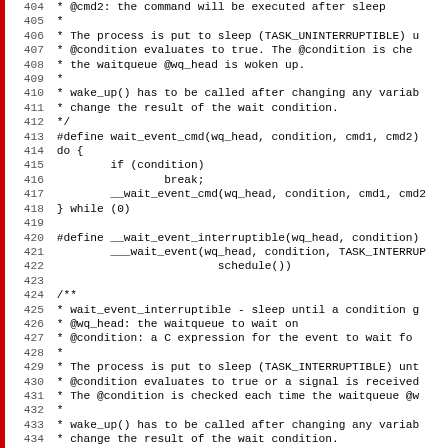[Figure (screenshot): Source code listing showing C preprocessor macros and documentation comments for wait_event_cmd and __wait_event_interruptible, lines 404-435, monospace font with line numbers and red left border.]